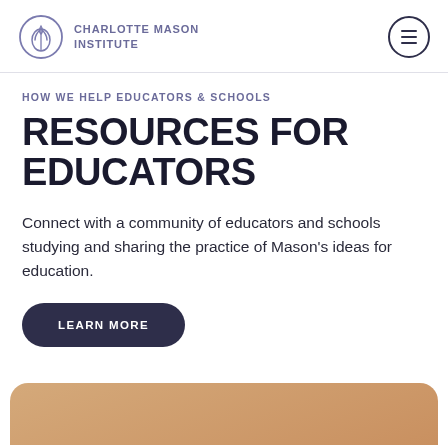Charlotte Mason Institute
HOW WE HELP EDUCATORS & SCHOOLS
RESOURCES FOR EDUCATORS
Connect with a community of educators and schools studying and sharing the practice of Mason's ideas for education.
LEARN MORE
[Figure (photo): Bottom portion of page showing a warm-toned beige/tan image, partially visible, with rounded top corners]